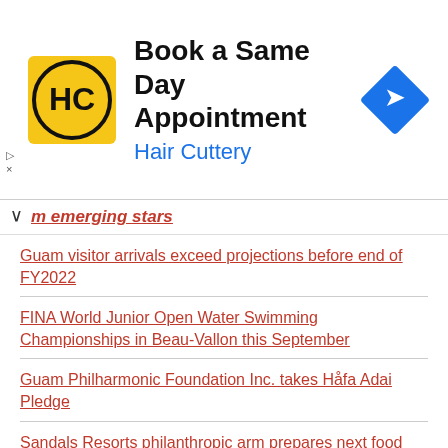[Figure (other): Hair Cuttery advertisement banner with logo, 'Book a Same Day Appointment' heading, 'Hair Cuttery' subtext in blue, and a blue navigation arrow icon on the right.]
m emerging stars
Guam visitor arrivals exceed projections before end of FY2022
FINA World Junior Open Water Swimming Championships in Beau-Vallon this September
Guam Philharmonic Foundation Inc. takes Håfa Adai Pledge
Sandals Resorts philanthropic arm prepares next food producers
OTDYKH Leisure 2022 is around the corner